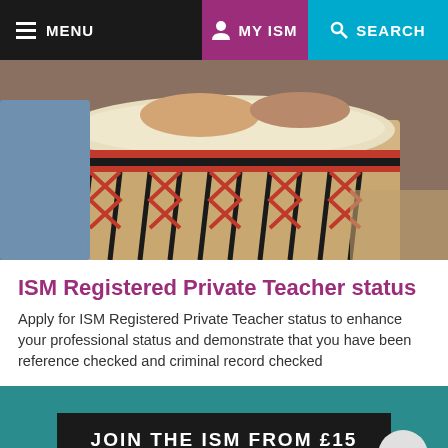MENU  MY ISM  SEARCH
[Figure (photo): Close-up photo of hands playing a djembe drum with red and black rope lacing]
ISM Registered Private Teacher status
Apply for ISM Registered Private Teacher status to enhance your professional status and demonstrate that you have been reference checked and criminal record checked
JOIN THE ISM FROM £15